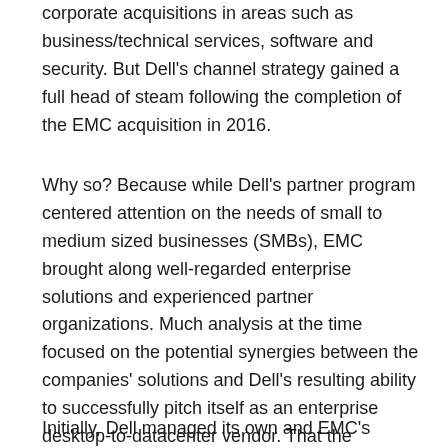corporate acquisitions in areas such as business/technical services, software and security. But Dell's channel strategy gained a full head of steam following the completion of the EMC acquisition in 2016.
Why so? Because while Dell's partner program centered attention on the needs of small to medium sized businesses (SMBs), EMC brought along well-regarded enterprise solutions and experienced partner organizations. Much analysis at the time focused on the potential synergies between the companies' solutions and Dell's resulting ability to successfully pitch itself as an enterprise desktop-to-datacenter vendor. That the combined companies also had the means and relationships required to sell into enterprise accounts received less attention.
Initially, Dell managed its own and EMC's partner